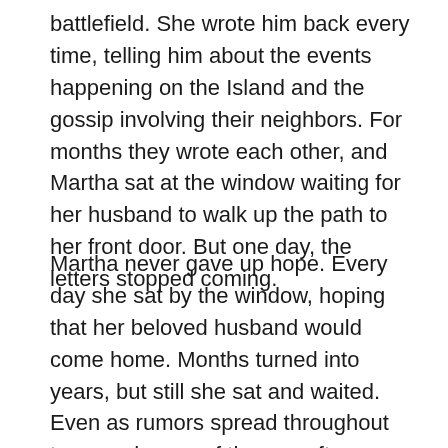battlefield. She wrote him back every time, telling him about the events happening on the Island and the gossip involving their neighbors. For months they wrote each other, and Martha sat at the window waiting for her husband to walk up the path to her front door. But one day, the letters stopped coming.
Martha never gave up hope. Every day she sat by the window, hoping that her beloved husband would come home. Months turned into years, but still she sat and waited. Even as rumors spread throughout town and news of the war often looked bleak, she never gave up hope. Hope that her husband would return and they could have their family. However, her husband never came home. Even after the war ended, she waited for him by the window, hoping that he was one of the many